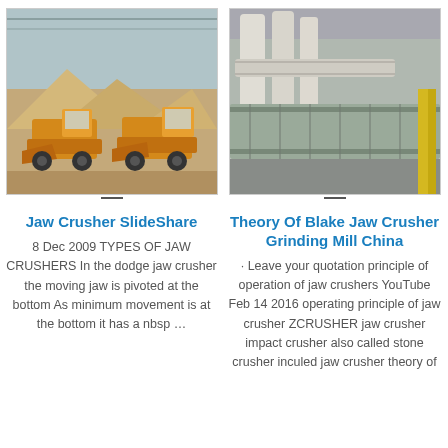[Figure (photo): Two front-loader construction vehicles in an industrial facility with piles of crushed stone/aggregate material]
Jaw Crusher SlideShare
8 Dec 2009 TYPES OF JAW CRUSHERS In the dodge jaw crusher the moving jaw is pivoted at the bottom As minimum movement is at the bottom it has a nbsp …
[Figure (photo): Industrial grinding mill machinery with conveyors and pipes inside a factory setting]
Theory Of Blake Jaw Crusher Grinding Mill China
· Leave your quotation principle of operation of jaw crushers YouTube Feb 14 2016 operating principle of jaw crusher ZCRUSHER jaw crusher impact crusher also called stone crusher inculed jaw crusher theory of